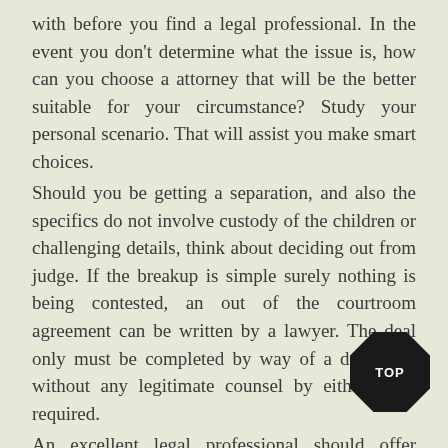with before you find a legal professional. In the event you don't determine what the issue is, how can you choose a attorney that will be the better suitable for your circumstance? Study your personal scenario. That will assist you make smart choices.
Should you be getting a separation, and also the specifics do not involve custody of the children or challenging details, think about deciding out from judge. If the breakup is simple surely nothing is being contested, an out of the courtroom agreement can be written by a lawyer. The deal only must be completed by way of a determine without any legitimate counsel by either party required.
An excellent legal professional should offer distinct assistance. In case your legal
[Figure (other): Black diamond-shaped badge with white text reading 'TOP']